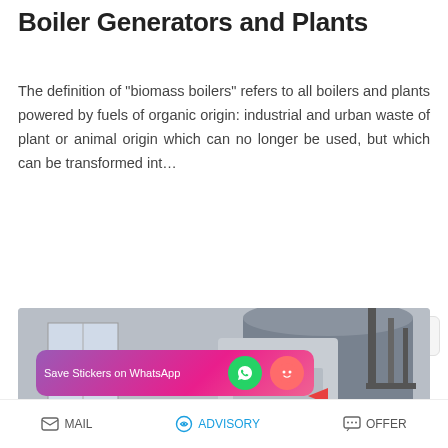Boiler Generators and Plants
The definition of "biomass boilers" refers to all boilers and plants powered by fuels of organic origin: industrial and urban waste of plant or animal origin which can no longer be used, but which can be transformed int…
READ MORE
[Figure (photo): Industrial boiler/steam generator installed in a factory building. A large cylindrical grey metal boiler with pipes and a window visible in the background. WhatsApp sticker-save overlay in the lower left corner.]
MAIL   ADVISORY   OFFER